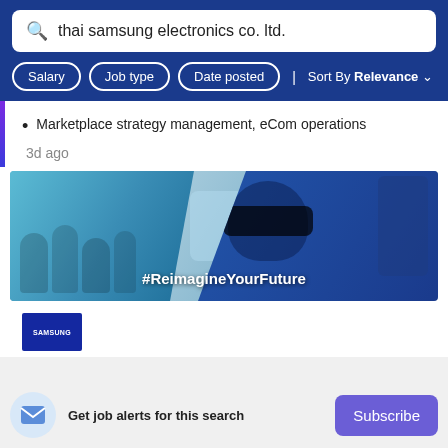thai samsung electronics co. ltd.
Salary
Job type
Date posted
Sort By Relevance
Marketplace strategy management, eCom operations
3d ago
[Figure (photo): Samsung recruitment banner showing diverse group of employees and person wearing VR headset with text #ReimagineYourFuture]
[Figure (logo): Samsung logo - white text on dark blue background]
Get job alerts for this search
Subscribe